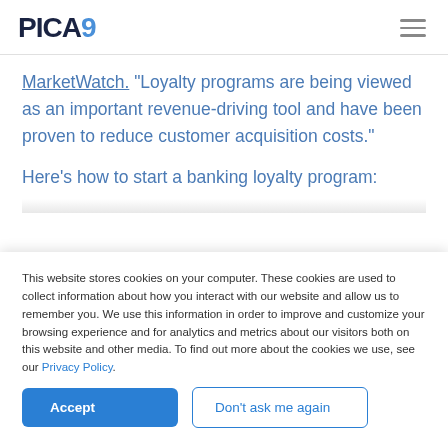PICA9
MarketWatch. "Loyalty programs are being viewed as an important revenue-driving tool and have been proven to reduce customer acquisition costs."
Here's how to start a banking loyalty program:
This website stores cookies on your computer. These cookies are used to collect information about how you interact with our website and allow us to remember you. We use this information in order to improve and customize your browsing experience and for analytics and metrics about our visitors both on this website and other media. To find out more about the cookies we use, see our Privacy Policy.